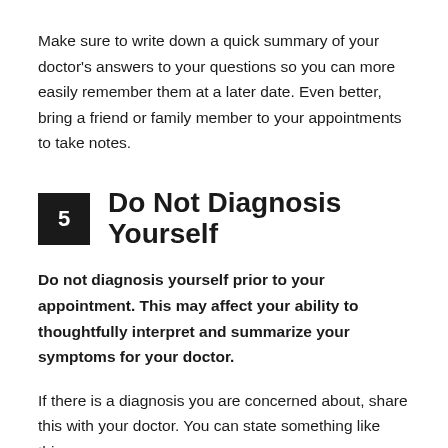Make sure to write down a quick summary of your doctor's answers to your questions so you can more easily remember them at a later date. Even better, bring a friend or family member to your appointments to take notes.
5  Do Not Diagnosis Yourself
Do not diagnosis yourself prior to your appointment. This may affect your ability to thoughtfully interpret and summarize your symptoms for your doctor.
If there is a diagnosis you are concerned about, share this with your doctor. You can state something like this,